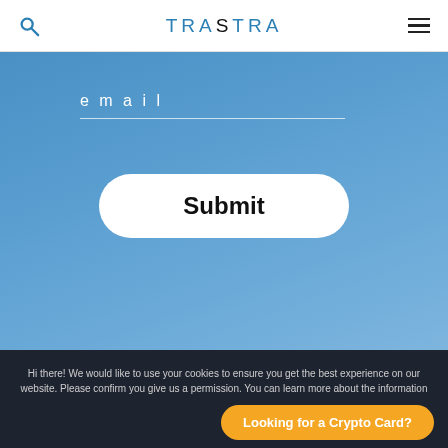TRASTRA
email
Submit
Hi there! We would like to use your cookies to ensure you get the best experience on our website. Please confirm you give us a permission. You can learn more about the information we gather in our Cookies Policy
I confirm
Privacy Policy
Looking for a Crypto Card?